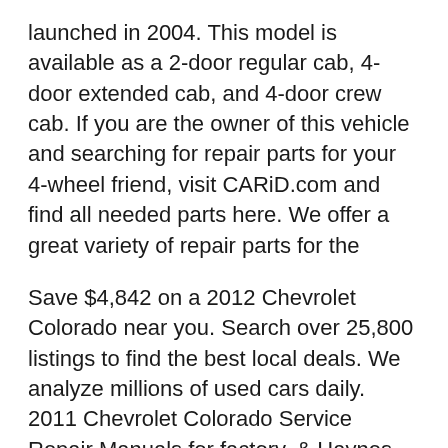launched in 2004. This model is available as a 2-door regular cab, 4-door extended cab, and 4-door crew cab. If you are the owner of this vehicle and searching for repair parts for your 4-wheel friend, visit CARiD.com and find all needed parts here. We offer a great variety of repair parts for the
Save $4,842 on a 2012 Chevrolet Colorado near you. Search over 25,800 listings to find the best local deals. We analyze millions of used cars daily. 2011 Chevrolet Colorado Service Repair Manuals for factory, & Haynes service workshop repair manuals. 2011 Chevrolet Colorado workshop repair manual PDF.